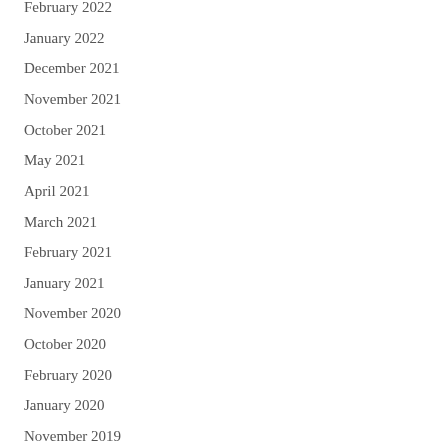February 2022
January 2022
December 2021
November 2021
October 2021
May 2021
April 2021
March 2021
February 2021
January 2021
November 2020
October 2020
February 2020
January 2020
November 2019
October 2019